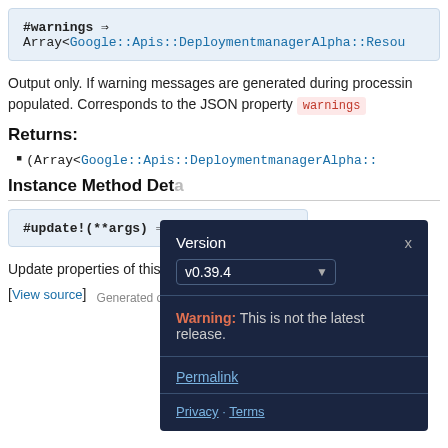#warnings ⇒ Array<Google::Apis::DeploymentmanagerAlpha::Resou
Output only. If warning messages are generated during processing, this field will be populated. Corresponds to the JSON property warnings
Returns:
(Array<Google::Apis::DeploymentmanagerAlpha::
Instance Method Deta
#update!(**args) ⇒ O
Update properties of this ob
[View source]
[Figure (screenshot): Version selector modal overlay with dark background showing v0.39.4 selected, warning 'This is not the latest release.', Permalink link, and Privacy · Terms footer]
Generated on Mon May 18 03:51:39 2020 by ya